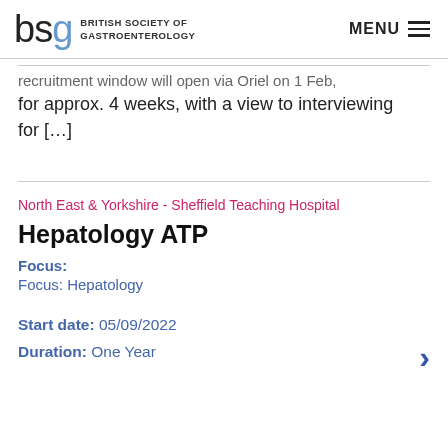bsg BRITISH SOCIETY OF GASTROENTEROLOGY | MENU
recruitment window will open via Oriel on 1 Feb, for approx. 4 weeks, with a view to interviewing for [...]
North East & Yorkshire - Sheffield Teaching Hospital
Hepatology ATP
Focus: Focus: Hepatology
Start date: 05/09/2022 Duration: One Year